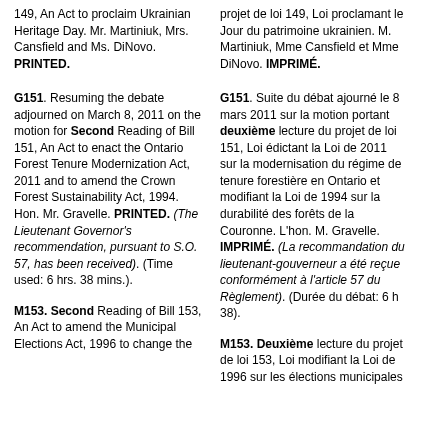149, An Act to proclaim Ukrainian Heritage Day. Mr. Martiniuk, Mrs. Cansfield and Ms. DiNovo. PRINTED.
projet de loi 149, Loi proclamant le Jour du patrimoine ukrainien. M. Martiniuk, Mme Cansfield et Mme DiNovo. IMPRIMÉ.
G151. Resuming the debate adjourned on March 8, 2011 on the motion for Second Reading of Bill 151, An Act to enact the Ontario Forest Tenure Modernization Act, 2011 and to amend the Crown Forest Sustainability Act, 1994. Hon. Mr. Gravelle. PRINTED. (The Lieutenant Governor's recommendation, pursuant to S.O. 57, has been received). (Time used: 6 hrs. 38 mins.).
G151. Suite du débat ajourné le 8 mars 2011 sur la motion portant deuxième lecture du projet de loi 151, Loi édictant la Loi de 2011 sur la modernisation du régime de tenure forestière en Ontario et modifiant la Loi de 1994 sur la durabilité des forêts de la Couronne. L'hon. M. Gravelle. IMPRIMÉ. (La recommandation du lieutenant-gouverneur a été reçue conformément à l'article 57 du Règlement). (Durée du débat: 6 h 38).
M153. Second Reading of Bill 153, An Act to amend the Municipal Elections Act, 1996 to change the
M153. Deuxième lecture du projet de loi 153, Loi modifiant la Loi de 1996 sur les élections municipales